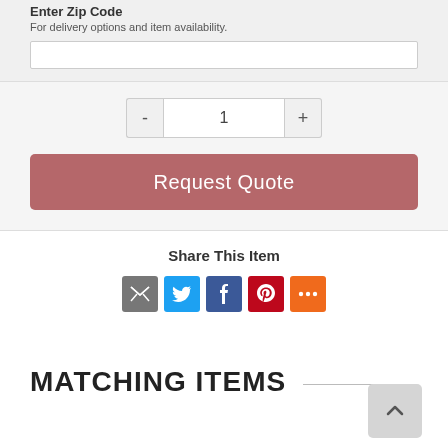Enter Zip Code
For delivery options and item availability.
1
Request Quote
Share This Item
[Figure (infographic): Social share icons: Email (grey), Twitter (blue), Facebook (blue), Pinterest (red), More (orange)]
MATCHING ITEMS